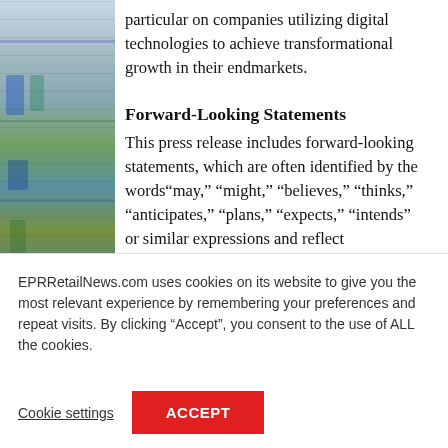[Figure (photo): Partial view of a retail/store scene on the left side of the page, showing shelves with products in muted blues and greens.]
particular on companies utilizing digital technologies to achieve transformational growth in their endmarkets.
Forward-Looking Statements
This press release includes forward-looking statements, which are often identified by the words“may,” “might,” “believes,” “thinks,” “anticipates,” “plans,” “expects,” “intends” or similar expressions and reflect
EPRRetailNews.com uses cookies on its website to give you the most relevant experience by remembering your preferences and repeat visits. By clicking “Accept”, you consent to the use of ALL the cookies.
Cookie settings
ACCEPT